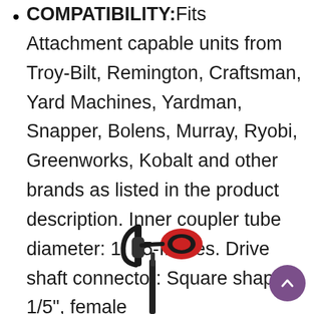COMPATIBILITY:Fits Attachment capable units from Troy-Bilt, Remington, Craftsman, Yard Machines, Yardman, Snapper, Bolens, Murray, Ryobi, Greenworks, Kobalt and other brands as listed in the product description. Inner coupler tube diameter: 1. 65-Inches. Drive shaft connector: Square shape, 1/5", female
[Figure (photo): A string trimmer / weed eater tool shown vertically, with a D-shaped handle at top, a motor/battery head in red and black, and a long black shaft extending downward.]